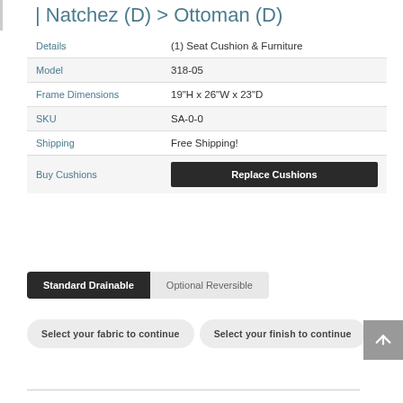| Natchez (D) > Ottoman (D)
|  |  |
| --- | --- |
| Details | (1) Seat Cushion & Furniture |
| Model | 318-05 |
| Frame Dimensions | 19"H x 26"W x 23"D |
| SKU | SA-0-0 |
| Shipping | Free Shipping! |
| Buy Cushions | Replace Cushions |
Standard Drainable | Optional Reversible
Select your fabric to continue   Select your finish to continue